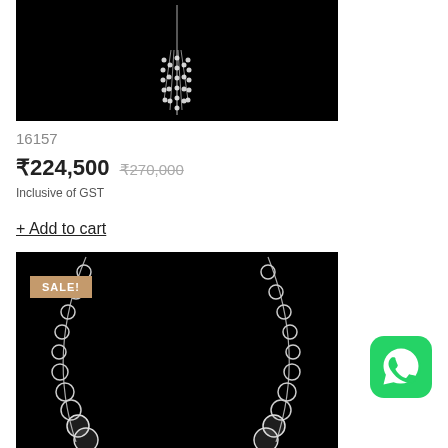[Figure (photo): Product photo of a diamond/crystal necklace pendant on a dark/black background, showing dangling crystal strands]
16157
₹224,500 ₹270,000 Inclusive of GST
+ Add to cart
[Figure (photo): Product photo of a silver/diamond necklace with circular links and pearl-like beads on a black background, with a SALE! badge]
[Figure (logo): WhatsApp green icon button]